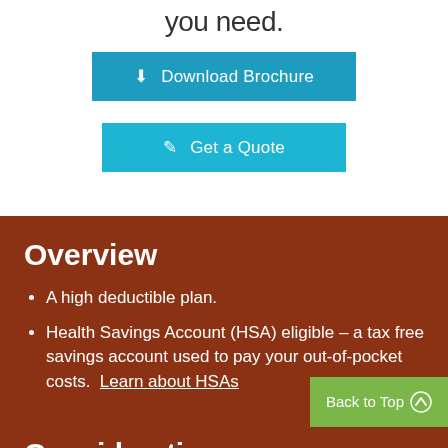you need.
Download Brochure
Get a Quote
Overview
A high deductible plan.
Health Savings Account (HSA) eligible – a tax free savings account used to pay your out-of-pocket costs. Learn about HSAs
Back to Top
Considerations